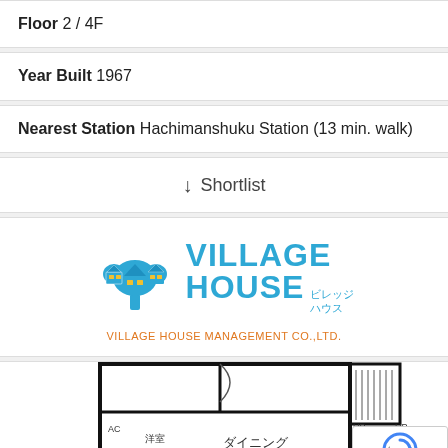Floor 2 / 4F
Year Built 1967
Nearest Station Hachimanshuku Station (13 min. walk)
↓ Shortlist
[Figure (logo): Village House logo with tree icon and Japanese text ビレッジハウス, followed by VILLAGE HOUSE MANAGEMENT CO.,LTD. in orange]
[Figure (engineering-diagram): Partial apartment floorplan showing dining kitchen area with Japanese labels and room outlines]